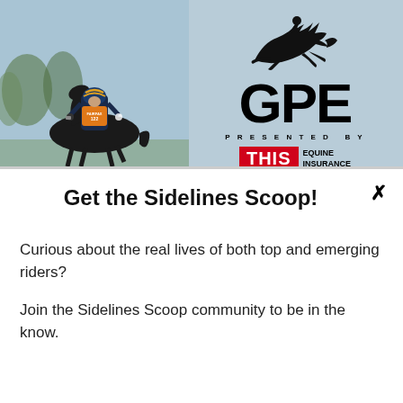[Figure (photo): Banner image showing a horse rider wearing a FAIRFAX vest and orange bib number 122, with GPE logo (horse and rider silhouette), 'PRESENTED BY' text, and THIS Equine Insurance badge in red on a blue-grey background.]
Get the Sidelines Scoop!
Curious about the real lives of both top and emerging riders?
Join the Sidelines Scoop community to be in the know.